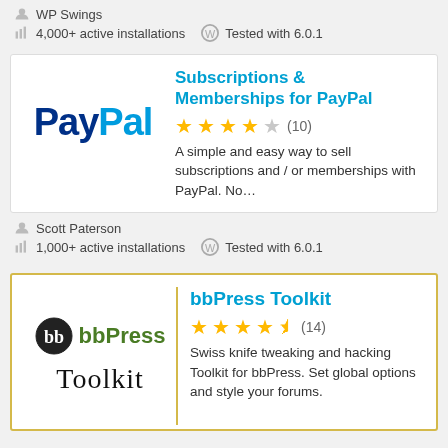WP Swings
4,000+ active installations   Tested with 6.0.1
Subscriptions & Memberships for PayPal
★★★★☆ (10)
A simple and easy way to sell subscriptions and / or memberships with PayPal. No...
Scott Paterson
1,000+ active installations   Tested with 6.0.1
bbPress Toolkit
★★★★½ (14)
Swiss knife tweaking and hacking Toolkit for bbPress. Set global options and style your forums.